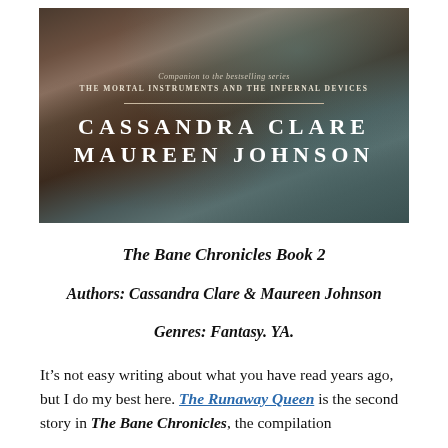[Figure (illustration): Book cover for The Bane Chronicles featuring dark atmospheric background with silhouetted hands and teal smoke/mist. Text reads: Companion to the bestselling series THE MORTAL INSTRUMENTS and THE INFERNAL DEVICES. Authors: CASSANDRA CLARE and MAUREEN JOHNSON.]
The Bane Chronicles Book 2
Authors: Cassandra Clare & Maureen Johnson
Genres: Fantasy. YA.
It’s not easy writing about what you have read years ago, but I do my best here. The Runaway Queen is the second story in The Bane Chronicles, the compilation